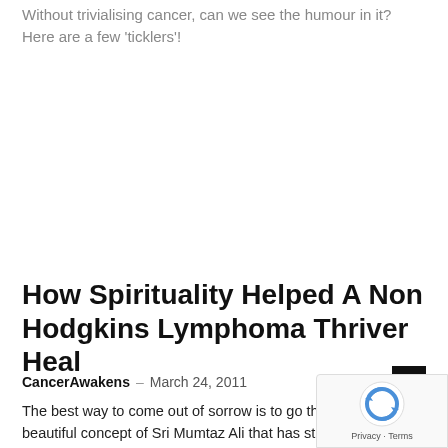Without trivialising cancer, can we see the humour in it? Here are a few 'ticklers'!
How Spirituality Helped A Non Hodgkins Lymphoma Thriver Heal
CancerAwakens – March 24, 2011
The best way to come out of sorrow is to go through it- a beautiful concept of Sri Mumtaz Ali that has stuck with Mr. Sunshine. advice that we can all benefit from.